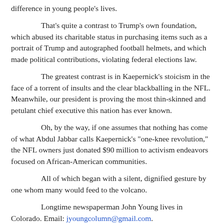difference in young people's lives.
That's quite a contrast to Trump's own foundation, which abused its charitable status in purchasing items such as a portrait of Trump and autographed football helmets, and which made political contributions, violating federal elections law.
The greatest contrast is in Kaepernick's stoicism in the face of a torrent of insults and the clear blackballing in the NFL. Meanwhile, our president is proving the most thin-skinned and petulant chief executive this nation has ever known.
Oh, by the way, if one assumes that nothing has come of what Abdul Jabbar calls Kaepernick's "one-knee revolution," the NFL owners just donated $90 million to activism endeavors focused on African-American communities.
All of which began with a silent, dignified gesture by one whom many would feed to the volcano.
Longtime newspaperman John Young lives in Colorado. Email: jyoungcolumn@gmail.com.